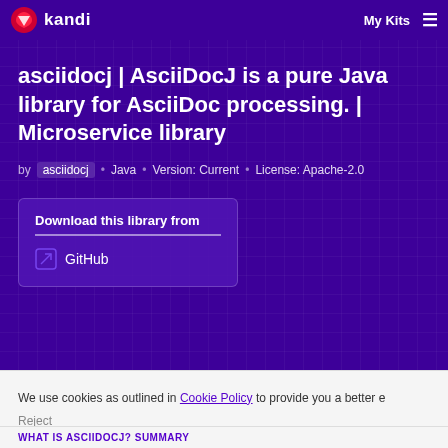kandi  My Kits
asciidocj | AsciiDocJ is a pure Java library for AsciiDoc processing. | Microservice library
by  asciidocj • Java • Version: Current • License: Apache-2.0
Download this library from
GitHub
We use cookies as outlined in Cookie Policy to provide you a better e
Reject
WHAT IS ASCIIDOCJ? SUMMARY